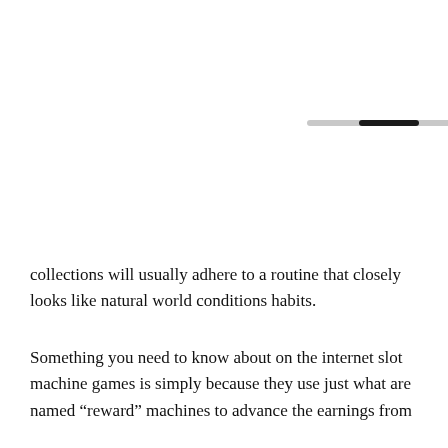[Figure (other): A horizontal progress bar with a dark filled section near the center-left, set against a light grey track.]
collections will usually adhere to a routine that closely looks like natural world conditions habits.
Something you need to know about on the internet slot machine games is simply because they use just what are named “reward” machines to advance the earnings from